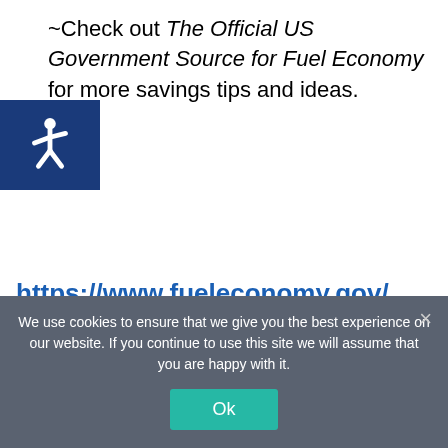~Check out The Official US Government Source for Fuel Economy for more savings tips and ideas.
[Figure (other): Blue square accessibility icon (wheelchair symbol) on dark blue background]
https://www.fueleconomy.gov/
[Figure (photo): Product photo showing an EPAuto cabin air filter box with filter and a blue/black portable tire inflator/air compressor]
We use cookies to ensure that we give you the best experience on our website. If you continue to use this site we will assume that you are happy with it.